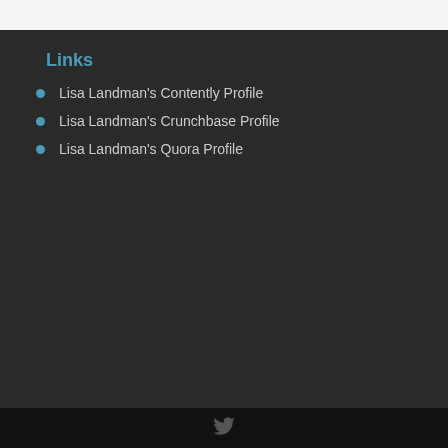Links
Lisa Landman's Contently Profile
Lisa Landman's Crunchbase Profile
Lisa Landman's Quora Profile
Twitter icon